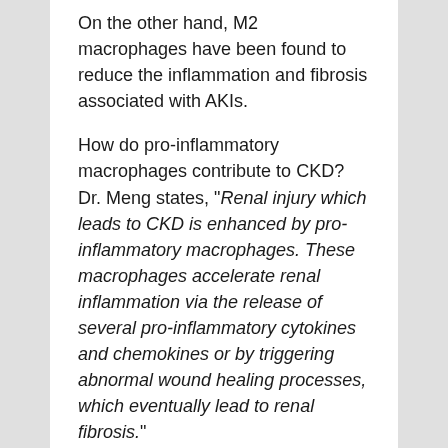On the other hand, M2 macrophages have been found to reduce the inflammation and fibrosis associated with AKIs.
How do pro-inflammatory macrophages contribute to CKD? Dr. Meng states, "Renal injury which leads to CKD is enhanced by pro-inflammatory macrophages. These macrophages accelerate renal inflammation via the release of several pro-inflammatory cytokines and chemokines or by triggering abnormal wound healing processes, which eventually lead to renal fibrosis."
The unique nature of macrophages allows them to change their phenotype from M1 to M2 in response to kidney injury; a process